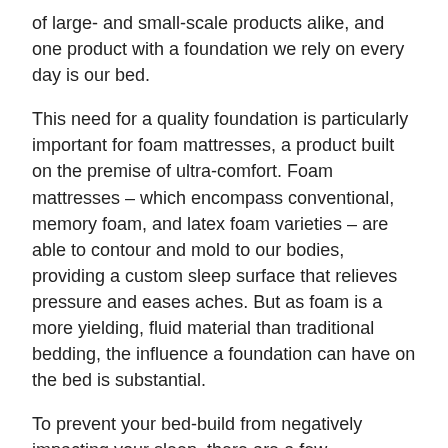of large- and small-scale products alike, and one product with a foundation we rely on every day is our bed.
This need for a quality foundation is particularly important for foam mattresses, a product built on the premise of ultra-comfort. Foam mattresses – which encompass conventional, memory foam, and latex foam varieties – are able to contour and mold to our bodies, providing a custom sleep surface that relieves pressure and eases aches. But as foam is a more yielding, fluid material than traditional bedding, the influence a foundation can have on the bed is substantial.
To prevent your bed-build from negatively impacting your sleep, there are a few foundation strategies worth implementing that can keep a mattress in great shape for years, while giving you superb comfort and support.